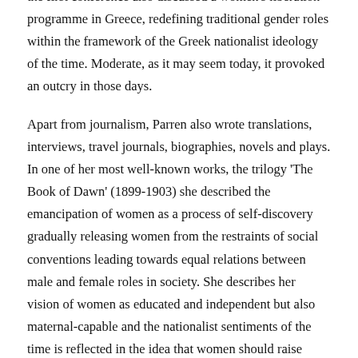the first conference also discussed a women's liberation programme in Greece, redefining traditional gender roles within the framework of the Greek nationalist ideology of the time. Moderate, as it may seem today, it provoked an outcry in those days.
Apart from journalism, Parren also wrote translations, interviews, travel journals, biographies, novels and plays. In one of her most well-known works, the trilogy 'The Book of Dawn' (1899-1903) she described the emancipation of women as a process of self-discovery gradually releasing women from the restraints of social conventions leading towards equal relations between male and female roles in society. She describes her vision of women as educated and independent but also maternal-capable and the nationalist sentiments of the time is reflected in the idea that women should raise citizens that are willing to sacrifice everything for the security and social progress of their nation.
In 1896 she also founded the 'Union for the Emancipation of Women' and the 'Union of Greek Women'. She educated women in reading and writing, founded hospitals and homes for widows and orphans. It was through her